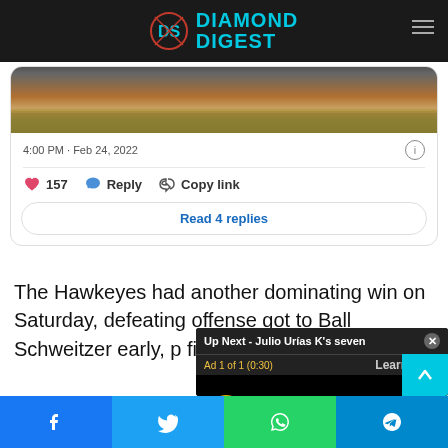Diamond Digest
[Figure (screenshot): Tweet card showing a baseball field photo with timestamp 4:00 PM · Feb 24, 2022, 157 likes, Reply and Copy link actions, and a Read 4 replies button]
The Hawkeyes had another dominating win on Saturday, defeating offense got to Ball Schweitzer early, p first inning. The Ca
[Figure (screenshot): Video ad overlay showing 'Up Next - Julio Urías K's seven' with Ad 1 of 1 (0:30), Learn More button, mute button, and scroll up arrow]
[Figure (infographic): Social share bar with Facebook, Twitter, WhatsApp, and Telegram buttons]